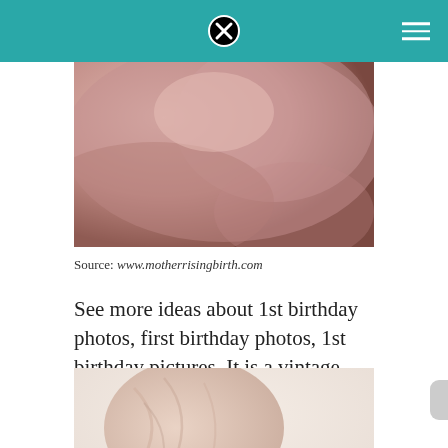[Figure (photo): Close-up photo of a baby or person, blurred, warm skin tones, cropped at top]
Source: www.motherrisingbirth.com
See more ideas about 1st birthday photos, first birthday photos, 1st birthday pictures. It is a vintage style dress fit for your princess.
[Figure (photo): Newborn baby wrapped in a pink/beige fabric with a small floral headband, soft background]